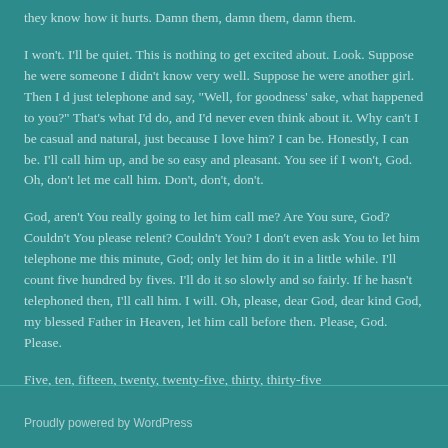they know how it hurts. Damn them, damn them, damn them.
I won't. I'll be quiet. This is nothing to get excited about. Look. Suppose he were someone I didn't know very well. Suppose he were another girl. Then I d just telephone and say, "Well, for goodness' sake, what happened to you?" That's what I'd do, and I'd never even think about it. Why can't I be casual and natural, just because I love him? I can be. Honestly, I can be. I'll call him up, and be so easy and pleasant. You see if I won't, God. Oh, don't let me call him. Don't, don't, don't.
God, aren't You really going to let him call me? Are You sure, God? Couldn't You please relent? Couldn't You? I don't even ask You to let him telephone me this minute, God; only let him do it in a little while. I'll count five hundred by fives. I'll do it so slowly and so fairly. If he hasn't telephoned then, I'll call him. I will. Oh, please, dear God, dear kind God, my blessed Father in Heaven, let him call before then. Please, God. Please.
Five, ten, fifteen, twenty, twenty-five, thirty, thirty-five
Proudly powered by WordPress